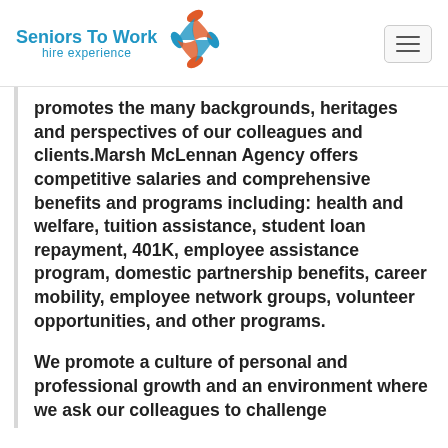Seniors To Work — hire experience
promotes the many backgrounds, heritages and perspectives of our colleagues and clients.Marsh McLennan Agency offers competitive salaries and comprehensive benefits and programs including: health and welfare, tuition assistance, student loan repayment, 401K, employee assistance program, domestic partnership benefits, career mobility, employee network groups, volunteer opportunities, and other programs.
We promote a culture of personal and professional growth and an environment where we ask our colleagues to challenge